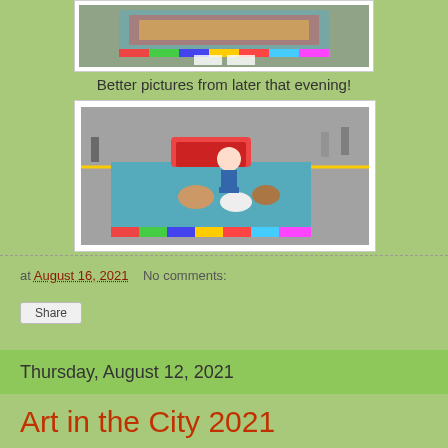[Figure (photo): Top portion of chalk art photo on pavement, partially visible at the top of the page]
Better pictures from later that evening!
[Figure (photo): Chalk pavement art photo showing a colorful carousel design on the street, with a person kneeling next to it, surrounded by other chalk art squares]
at August 16, 2021   No comments:
Share
Thursday, August 12, 2021
Art in the City 2021